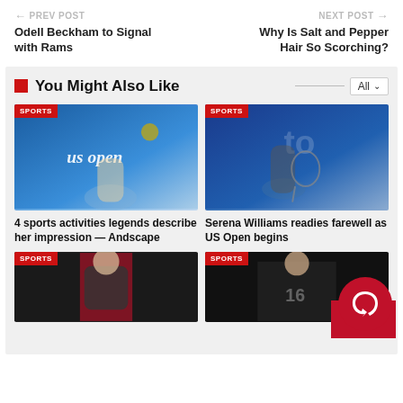← PREV POST  |  NEXT POST →
Odell Beckham to Signal with Rams
Why Is Salt and Pepper Hair So Scorching?
You Might Also Like
[Figure (photo): Tennis player at US Open swinging racket, SPORTS badge top-left]
[Figure (photo): Serena Williams with tennis racket, SPORTS badge top-left]
4 sports activities legends describe her impression — Andscape
Serena Williams readies farewell as US Open begins
[Figure (photo): Basketball player, SPORTS badge top-left]
[Figure (photo): Football player, SPORTS badge top-left, logo overlay bottom-right]